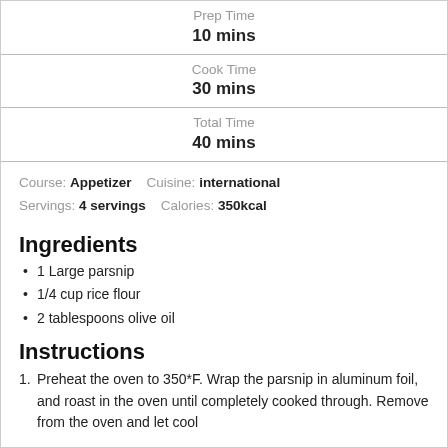| Prep Time | 10 mins |
| Cook Time | 30 mins |
| Total Time | 40 mins |
Course: Appetizer    Cuisine: international
Servings: 4 servings    Calories: 350kcal
Ingredients
1 Large parsnip
1/4 cup rice flour
2 tablespoons olive oil
Instructions
Preheat the oven to 350*F. Wrap the parsnip in aluminum foil, and roast in the oven until completely cooked through. Remove from the oven and let cool